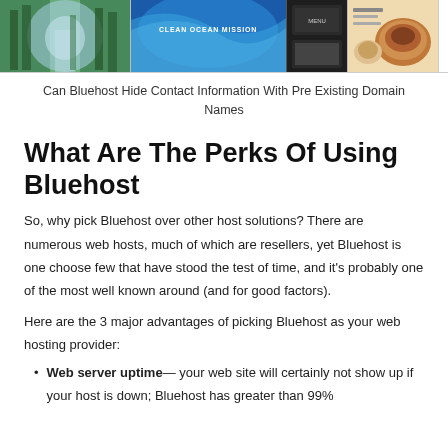[Figure (photo): Header collage with three images: a forest/tunnel painting, an ocean wave with text 'CLEAN OCEAN MISSION', and a dark food/restaurant layout photo]
Can Bluehost Hide Contact Information With Pre Existing Domain Names
What Are The Perks Of Using Bluehost
So, why pick Bluehost over other host solutions? There are numerous web hosts, much of which are resellers, yet Bluehost is one choose few that have stood the test of time, and it’s probably one of the most well known around (and for good factors).
Here are the 3 major advantages of picking Bluehost as your web hosting provider:
Web server uptime— your web site will certainly not show up if your host is down; Bluehost has greater than 99%